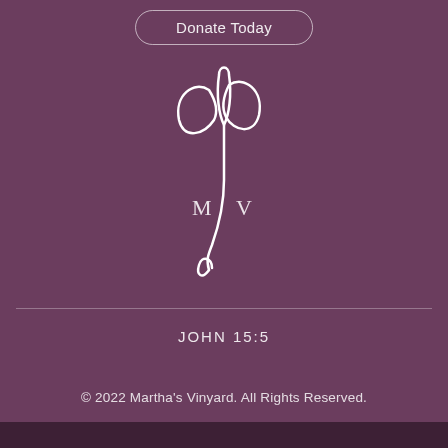Donate Today
[Figure (logo): Martha's Vinyard logo: white decorative vine/leaf/music note motif with letters M and V]
JOHN 15:5
© 2022 Martha's Vinyard. All Rights Reserved.